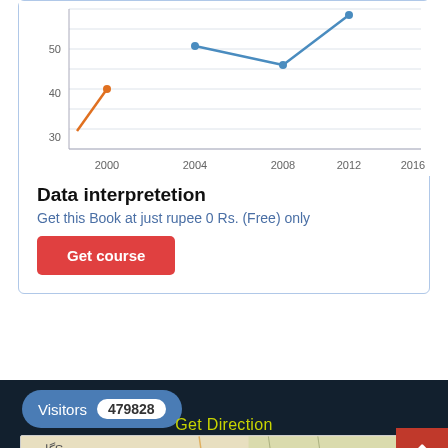[Figure (line-chart): Line chart with years]
Data interpretetion
Get this Book at just rupee 0 Rs. (Free) only
Get course
Visitors 479828
Get Direction
[Figure (map): Map showing location of CAREER SUCCESS JAMMU - S...]